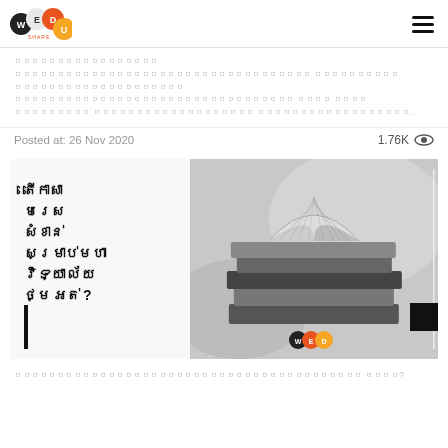WEDU SHARE
០០០០០០០០០០០០០០០០០ ០០០០០០០០០០០០០០០០០០០០០០០០០០០០០០០០០០០ ០០០០០០០០០០០ ០០០០០០០០០០០០០០០០០០០០ ០០០០០០០០០០០០០០០០០០០០០០០០០០០០០០០០០០ ០០០០ ០០០០ ០០០០០០០០០ ០០០០០០០០០០០០០០០០០០០០ ០០០០០០០០០០០០០០០០០...
Posted at: 26 Nov 2020    1.76K
[Figure (photo): A blog post thumbnail showing Khmer text on white background on the left side and a black and white photo of stacked books with one open book on top on the right side. A WEDU logo is at the bottom center.]
០០០០០០០០០០០០០០០០០០០០០០០០០០០០០០០០០០០០០០០០០ ០០០០?